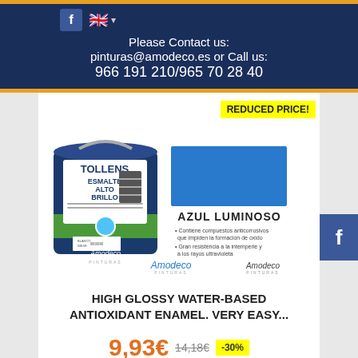Please Contact us: pinturas@amodeco.es or Call us: 966 191 210/965 70 28 40
REDUCED PRICE!
[Figure (photo): Tollens Esmalte Alto Brillo paint can (blue/dark, 750ml) with AZUL LUMINOSO color swatch and product description in Spanish. Amodeco Pinturas branding.]
HIGH GLOSSY WATER-BASED ANTIOXIDANT ENAMEL. VERY EASY...
9,93€  14,18€  -30%